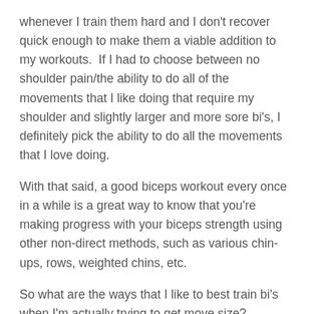whenever I train them hard and I don't recover quick enough to make them a viable addition to my workouts.  If I had to choose between no shoulder pain/the ability to do all of the movements that I like doing that require my shoulder and slightly larger and more sore bi's, I definitely pick the ability to do all the movements that I love doing.
With that said, a good biceps workout every once in a while is a great way to know that you're making progress with your biceps strength using other non-direct methods, such as various chin-ups, rows, weighted chins, etc.
So what are the ways that I like to best train bi's when I'm actually trying to get move size?